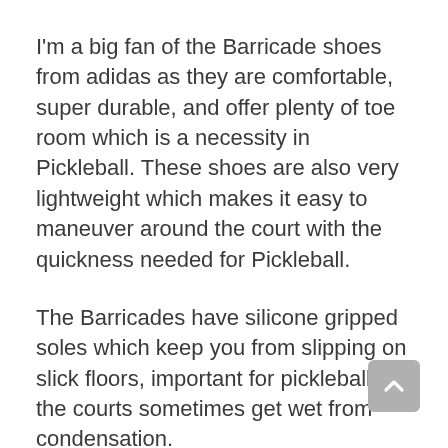I'm a big fan of the Barricade shoes from adidas as they are comfortable, super durable, and offer plenty of toe room which is a necessity in Pickleball. These shoes are also very lightweight which makes it easy to maneuver around the court with the quickness needed for Pickleball.
The Barricades have silicone gripped soles which keep you from slipping on slick floors, important for pickleball as the courts sometimes get wet from condensation.
The Barricades also boasts impressive durability, another important factor for Pickleball as the shoes are exposed to a lot of sliding and scraping on the hardwood